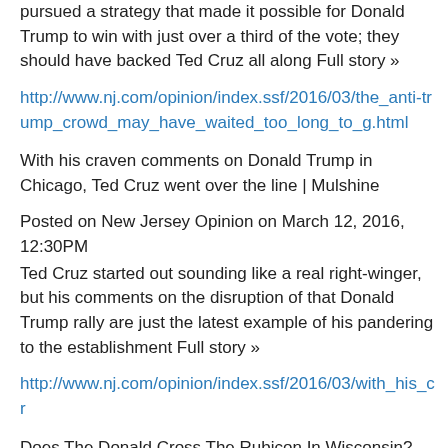pursued a strategy that made it possible for Donald Trump to win with just over a third of the vote; they should have backed Ted Cruz all along Full story »
http://www.nj.com/opinion/index.ssf/2016/03/the_anti-trump_crowd_may_have_waited_too_long_to_g.html
With his craven comments on Donald Trump in Chicago, Ted Cruz went over the line | Mulshine
Posted on New Jersey Opinion on March 12, 2016, 12:30PM
Ted Cruz started out sounding like a real right-winger, but his comments on the disruption of that Donald Trump rally are just the latest example of his pandering to the establishment Full story »
http://www.nj.com/opinion/index.ssf/2016/03/with_his_cr
Does The Donald Cross The Rubicon In Wisconsin? Get The Real Skinny; Stay Tuned, ON USAWatchdog!